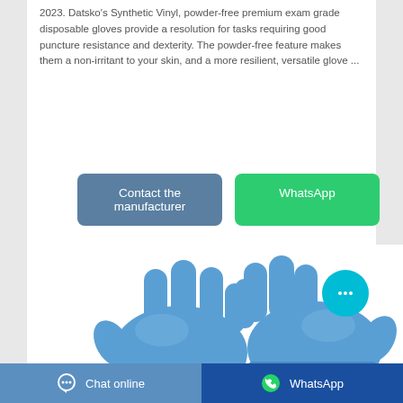2023. Datsko's Synthetic Vinyl, powder-free premium exam grade disposable gloves provide a resolution for tasks requiring good puncture resistance and dexterity. The powder-free feature makes them a non-irritant to your skin, and a more resilient, versatile glove ...
[Figure (illustration): Two blue synthetic vinyl exam gloves shown side by side on white background]
Contact the manufacturer
WhatsApp
Chat online   WhatsApp